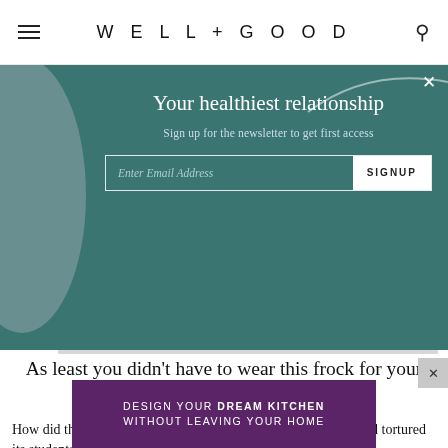WELL+GOOD
[Figure (screenshot): Modal popup with teal/dark green background, decorative grey circle and white curved line. Contains newsletter signup form.]
Your healthiest relationship
Sign up for the newsletter to get first access
Enter Email Address  SIGNUP
As least you didn’t have to wear this frock for your physical fitness test
How did the fitness test that plagued the nation’s gym classes and tortured its students get its start?
[Figure (infographic): Purple/violet advertisement banner reading: DESIGN YOUR DREAM KITCHEN WITHOUT LEAVING YOUR HOME]